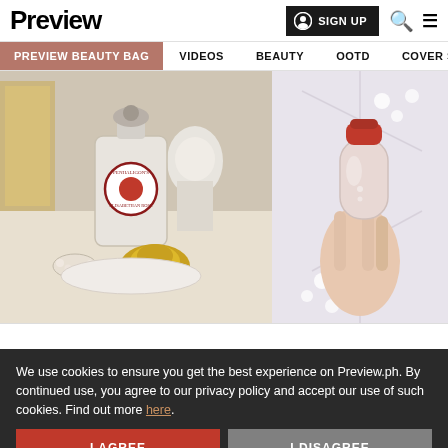Preview
SIGN UP
PREVIEW BEAUTY BAG | VIDEOS | BEAUTY | OOTD | COVER STORIES
[Figure (photo): Penhaligon's Elisabethan Rose perfume bottle with gold ornament and pearls on a plate]
[Figure (photo): Hand holding a pink/frosted bottle with red cap against floral background]
We use cookies to ensure you get the best experience on Preview.ph. By continued use, you agree to our privacy policy and accept our use of such cookies. Find out more here.
I AGREE
I DISAGREE